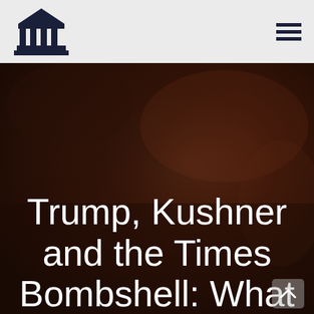[Figure (logo): Bank/institution column capital building icon in dark navy blue]
[Figure (other): Hamburger menu icon (three horizontal lines) in dark navy blue]
[Figure (photo): Dark blurred background photo with brownish/dark tones, resembling a courtroom or wooden interior setting]
Trump, Kushner and the Times Bombshell: What